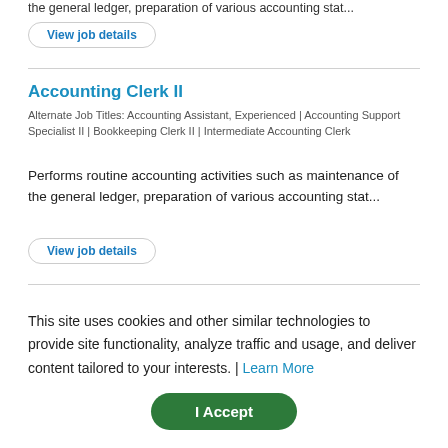the general ledger, preparation of various accounting stat...
View job details
Accounting Clerk II
Alternate Job Titles: Accounting Assistant, Experienced | Accounting Support Specialist II | Bookkeeping Clerk II | Intermediate Accounting Clerk
Performs routine accounting activities such as maintenance of the general ledger, preparation of various accounting stat...
View job details
Accounting Support Specialist I
Alternate Job Titles: Accounting Clerk I | Accounting Assistant, Entry | Bookkeeping Clerk I | Entry Accounting Clerk
Performs routine accounting activities such as maintenance of the general ledger, preparation of various accounting stat...
This site uses cookies and other similar technologies to provide site functionality, analyze traffic and usage, and deliver content tailored to your interests. | Learn More
I Accept